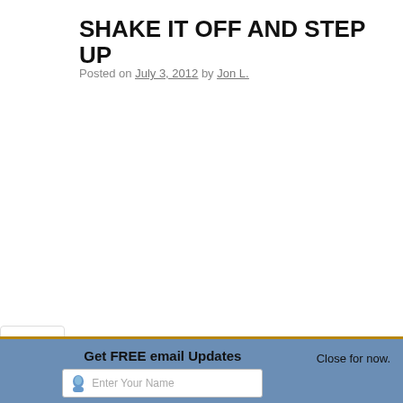SHAKE IT OFF AND STEP UP
Posted on July 3, 2012 by Jon L.
[Figure (other): Vertical social media sharing sidebar with icons for Twitter, Facebook, LinkedIn, share, FriendFeed, YouTube, and Vimeo]
A parable is told of a farmer who owned an old mule.  The mule the farmer heard the mule "braying" or whatever mules do wher
Get FREE email Updates  Close for now.
Enter Your Name